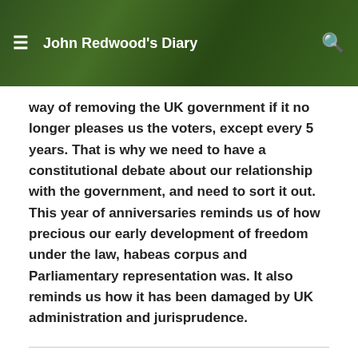John Redwood's Diary
way of removing the UK government if it no longer pleases us the voters, except every 5 years. That is why we need to have a constitutional debate about our relationship with the government, and need to sort it out. This year of anniversaries reminds us of how precious our early development of freedom under the law, habeas corpus and Parliamentary representation was. It also reminds us how it has been damaged by UK administration and jurisprudence.
The PrangWizard
January 20, 2015
All was well until you began the final paragraph, jumping headlong into your obsession with the EU.